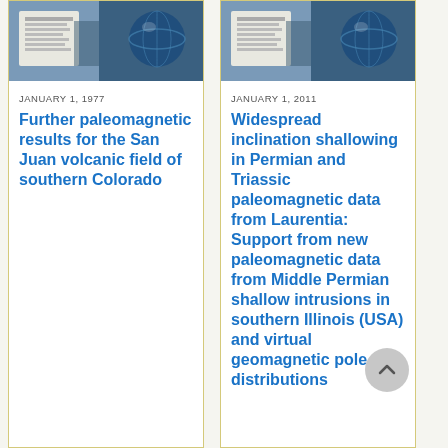[Figure (photo): Book or publication cover with blue/globe imagery, partial view at top of left card]
JANUARY 1, 1977
Further paleomagnetic results for the San Juan volcanic field of southern Colorado
[Figure (photo): Book or publication cover with blue/globe imagery, partial view at top of right card]
JANUARY 1, 2011
Widespread inclination shallowing in Permian and Triassic paleomagnetic data from Laurentia: Support from new paleomagnetic data from Middle Permian shallow intrusions in southern Illinois (USA) and virtual geomagnetic pole distributions